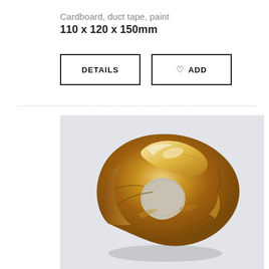Cardboard, duct tape, paint
110 x 120 x 150mm
DETAILS
ADD
[Figure (photo): A crumpled gold/metallic sculptural object made from cardboard, duct tape, and paint, photographed on a light grey background. The object has a ring-like or rolled form with reflective golden surfaces showing creases and folds.]